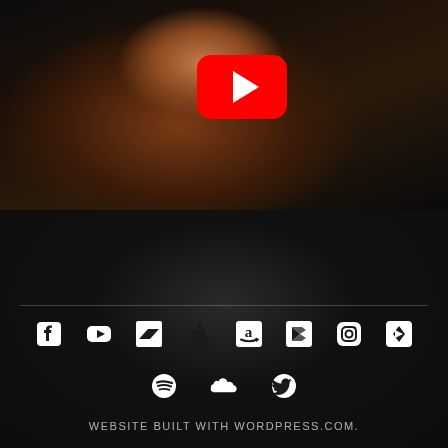[Figure (screenshot): YouTube video thumbnail showing a woman with long dark hair and red lips looking upward, with a YouTube play button overlay in the center]
[Figure (infographic): Row of social media icons: Facebook, YouTube, Bandcamp, Apple, Amazon, Google Play, Instagram, Plex; second row: Spotify, SoundCloud, Twitter]
WEBSITE BUILT WITH WORDPRESS.COM.